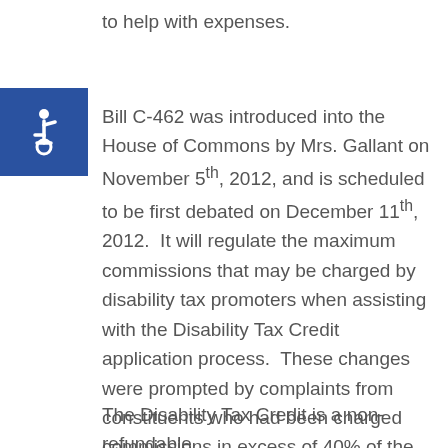to help with expenses.
[Figure (logo): Accessibility icon — white wheelchair symbol on blue square background]
Bill C-462 was introduced into the House of Commons by Mrs. Gallant on November 5th, 2012, and is scheduled to be first debated on December 11th, 2012.  It will regulate the maximum commissions that may be charged by disability tax promoters when assisting with the Disability Tax Credit application process.  These changes were prompted by complaints from constituents who had been charged commissions in excess of 40% of the tax credit received.
The Disability Tax Credit is a non-refundable